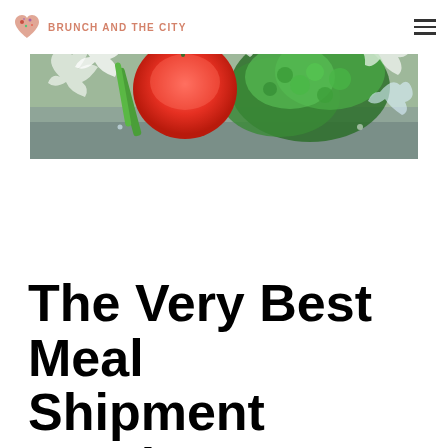BRUNCH AND THE CITY
[Figure (photo): Hero image of fresh vegetables including a red tomato and green parsley/herbs with water splashing around them on a dark background]
The Very Best Meal Shipment Service